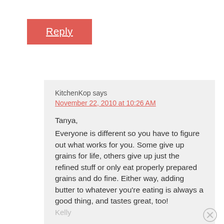Reply
KitchenKop says
November 22, 2010 at 10:26 AM
Tanya,
Everyone is different so you have to figure out what works for you. Some give up grains for life, others give up just the refined stuff or only eat properly prepared grains and do fine. Either way, adding butter to whatever you're eating is always a good thing, and tastes great, too!
Kelly